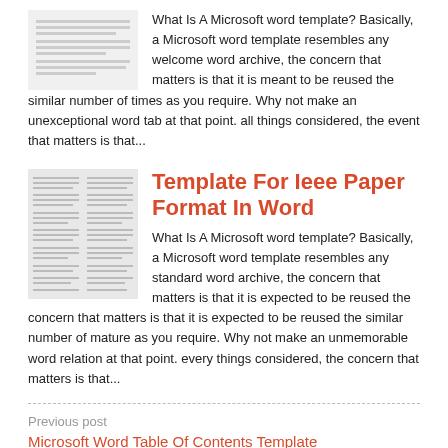[Figure (screenshot): Thumbnail image of a document/template page showing lines of text]
What Is A Microsoft word template? Basically, a Microsoft word template resembles any welcome word archive, the concern that matters is that it is meant to be reused the similar number of times as you require. Why not make an unexceptional word tab at that point. all things considered, the event that matters is that...
[Figure (screenshot): Thumbnail image of a document showing two-column text layout]
Template For Ieee Paper Format In Word
What Is A Microsoft word template? Basically, a Microsoft word template resembles any standard word archive, the concern that matters is that it is expected to be reused the similar number of mature as you require. Why not make an unmemorable word relation at that point. every things considered, the concern that matters is that...
Previous post
Microsoft Word Table Of Contents Template